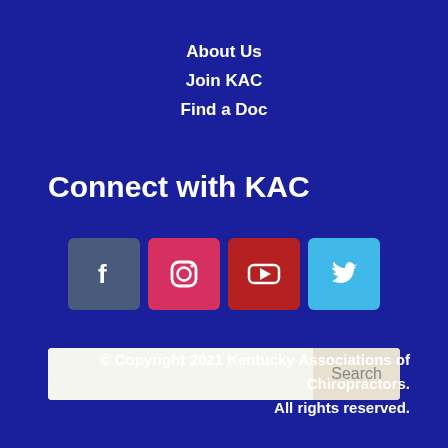About Us
Join KAC
Find a Doc
Connect with KAC
[Figure (infographic): Social media icons: Facebook, Instagram, YouTube, Twitter]
[Figure (other): Search bar with Search button]
© Copyright 2021 Kentucky Associations of Chiropractors. All rights reserved.